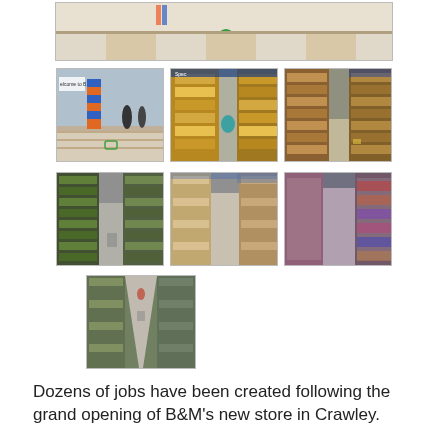[Figure (photo): Wide top photo of B&M store interior floor/entrance area]
[Figure (photo): B&M store entrance with 'Welcome to B&M' sign and striped pillar]
[Figure (photo): Store aisle with yellow/colorful shelves stacked with products]
[Figure (photo): Store shelving aisle with products on both sides]
[Figure (photo): Store aisle with green/gardening section products]
[Figure (photo): Store aisle with pale colored shelving]
[Figure (photo): Store aisle blurred with shelving on right]
[Figure (photo): Store aisle looking down between shelves]
Dozens of jobs have been created following the grand opening of B&M's new store in Crawley.